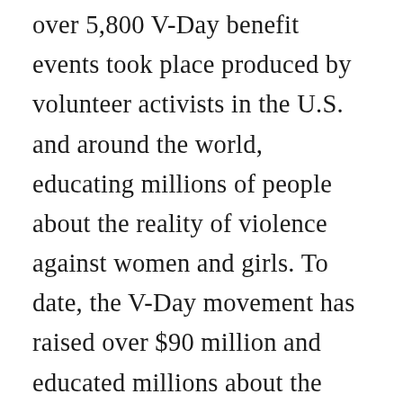over 5,800 V-Day benefit events took place produced by volunteer activists in the U.S. and around the world, educating millions of people about the reality of violence against women and girls. To date, the V-Day movement has raised over $90 million and educated millions about the issue of violence against women and the efforts to end it, crafted international educational, media and PSA campaigns, reopened shelters, and funded over 14,000 community-based anti-violence programs and safe houses in Democratic Republic of Congo, Haiti, Kenya, South Dakota, Egypt and Iraq. Over 300 million people have seen a V-Day